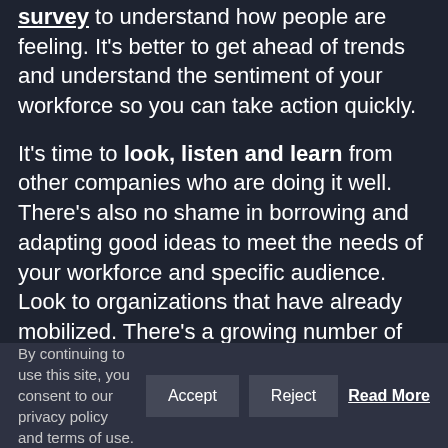survey to understand how people are feeling. It's better to get ahead of trends and understand the sentiment of your workforce so you can take action quickly.
It's time to look, listen and learn from other companies who are doing it well. There's also no shame in borrowing and adapting good ideas to meet the needs of your workforce and specific audience. Look to organizations that have already mobilized. There's a growing number of support programs being developed for the workplace—"more than 200 companies—
By continuing to use this site, you consent to our privacy policy and terms of use.